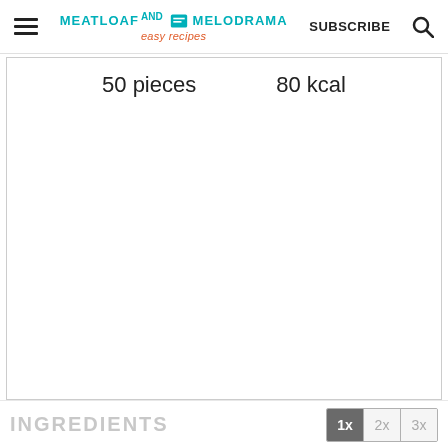MEATLOAF AND MELODRAMA easy recipes | SUBSCRIBE | Search
50 pieces    80 kcal
INGREDIENTS    1x  2x  3x